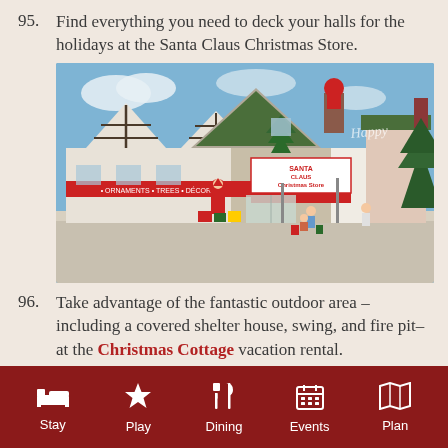95. Find everything you need to deck your halls for the holidays at the Santa Claus Christmas Store.
[Figure (photo): Exterior photo of the Santa Claus Christmas Store, a large retail building with green roof, Tudor-style architecture, a giant Santa figure, Christmas trees, and shoppers in front.]
96. Take advantage of the fantastic outdoor area –including a covered shelter house, swing, and fire pit–at the Christmas Cottage vacation rental.
Stay | Play | Dining | Events | Plan